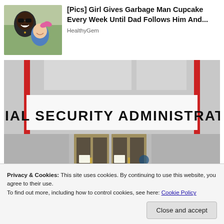[Figure (photo): Thumbnail photo of a man and a young girl smiling, used as ad image.]
[Pics] Girl Gives Garbage Man Cupcake Every Week Until Dad Follows Him And...
HealthyGem
[Figure (photo): Photo of the front entrance of a Social Security Administration building with bold signage reading 'SOCIAL SECURITY ADMINISTRATION'.]
Privacy & Cookies: This site uses cookies. By continuing to use this website, you agree to their use.
To find out more, including how to control cookies, see here: Cookie Policy
Close and accept